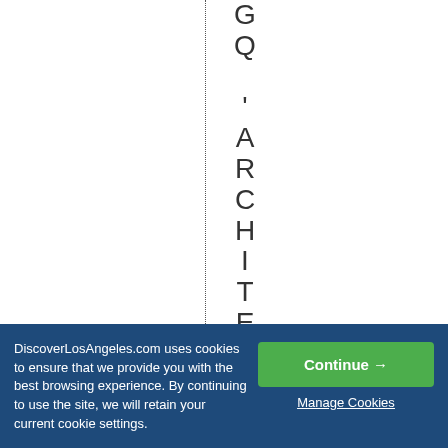[Figure (other): Vertical text spelling out part of 'GQ 'ARCHITECTURAL' letter by letter top to bottom, with a vertical dotted line to the left]
DiscoverLosAngeles.com uses cookies to ensure that we provide you with the best browsing experience. By continuing to use the site, we will retain your current cookie settings.
Continue →
Manage Cookies